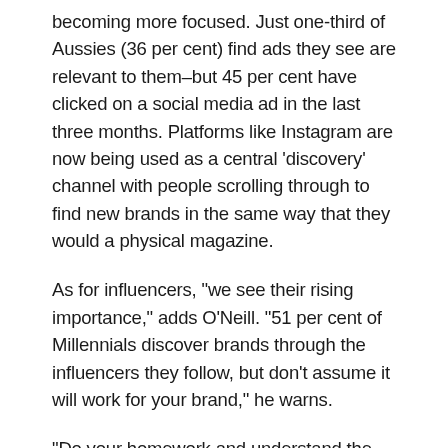becoming more focused. Just one-third of Aussies (36 per cent) find ads they see are relevant to them–but 45 per cent have clicked on a social media ad in the last three months. Platforms like Instagram are now being used as a central ‘discovery’ channel with people scrolling through to find new brands in the same way that they would a physical magazine.
As for influencers, “we see their rising importance,” adds O’Neill. “51 per cent of Millennials discover brands through the influencers they follow, but don’t assume it will work for your brand,” he warns.
“Do your homework and understand the